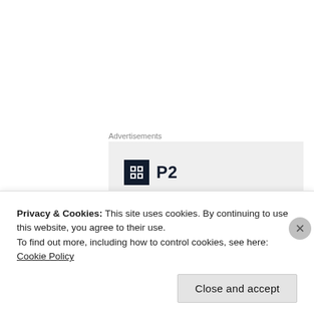Advertisements
[Figure (other): P2 advertisement banner with logo (square icon with grid pattern) and tagline 'Getting your team on']
Biblically speaking, Jesus entrusted Mary to the care of Saint John (see John 19: 25-27). In the Book of Revelation – the final book in the Bible – John
Privacy & Cookies: This site uses cookies. By continuing to use this website, you agree to their use.
To find out more, including how to control cookies, see here: Cookie Policy
Close and accept